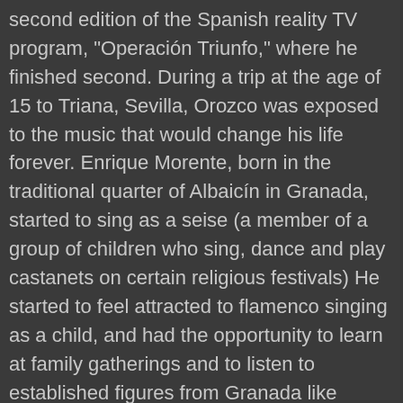second edition of the Spanish reality TV program, "Operación Triunfo," where he finished second. During a trip at the age of 15 to Triana, Sevilla, Orozco was exposed to the music that would change his life forever. Enrique Morente, born in the traditional quarter of Albaicín in Granada, started to sing as a seise (a member of a group of children who sing, dance and play castanets on certain religious festivals) He started to feel attracted to flamenco singing as a child, and had the opportunity to learn at family gatherings and to listen to established figures from Granada like Cobitos, the, Ismael Serrano (born 9 March 1974) is a Singer/songwriter and guitarist from Spain, popular in Spain and Latin America, known for his insightful and often political lyrics and eclectic musical influences. Nancho Novo (A Coruña, 17 September 1958). The bolero is a type of dance found in both Cuba and Spain – although both have distinct origins. Famous spanish singers. Later, he teamed up with singer and producer Juan Pardo. Blas Cantó was born on October 26, 1991 in Molina de